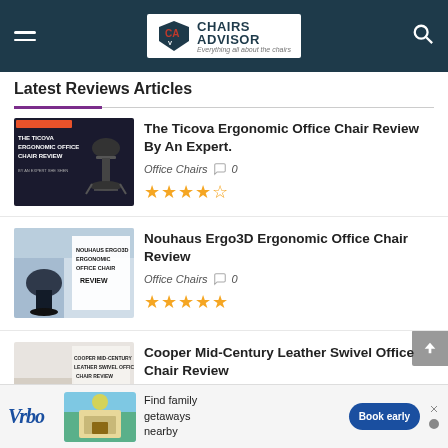Chairs Advisor — Everything all about the chairs
Latest Reviews Articles
[Figure (screenshot): Thumbnail for Ticova Ergonomic Office Chair Review showing dark background with chair image]
The Ticova Ergonomic Office Chair Review By An Expert.
Office Chairs  0  ★★★★½
[Figure (screenshot): Thumbnail for Nouhaus Ergo3D Ergonomic Office Chair Review with office background]
Nouhaus Ergo3D Ergonomic Office Chair Review
Office Chairs  0  ★★★★★
[Figure (screenshot): Thumbnail for Cooper Mid-Century Leather Swivel Office Chair Review]
Cooper Mid-Century Leather Swivel Office Chair Review
[Figure (infographic): Vrbo advertisement banner: Find family getaways nearby — Book early]